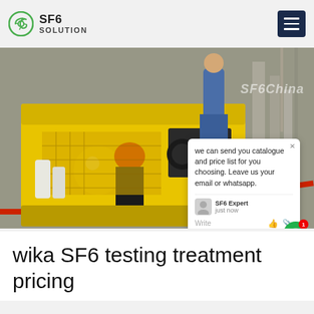SF6 SOLUTION
[Figure (photo): Industrial SF6 gas servicing equipment (yellow vehicle/machine) with workers in blue coveralls and hard hats operating at a substation. A man in a red hard hat and dark jacket stands in the foreground near the yellow machine. Red safety barriers visible. Watermark: SF6China.]
[Figure (screenshot): Chat popup overlay reading: 'we can send you catalogue and price list for you choosing. Leave us your email or whatsapp.' with SF6 Expert avatar, justnow timestamp, Write field with thumbs up and paperclip icons. Green chat bubble button with red badge showing 1.]
wika SF6 testing treatment pricing